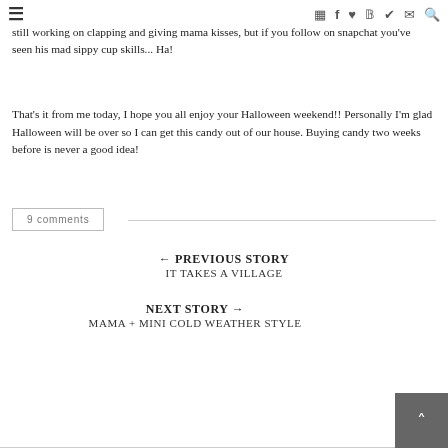☰  [icons: instagram, facebook, heart, pinterest, twitter, email, search]
selection, he'll even dance to his mamas terrible singing. 8 months is such a fun age!! I'm still working on clapping and giving mama kisses, but if you follow on snapchat you've seen his mad sippy cup skills... Ha!
That's it from me today, I hope you all enjoy your Halloween weekend!! Personally I'm glad Halloween will be over so I can get this candy out of our house. Buying candy two weeks before is never a good idea!
9 comments
← PREVIOUS STORY
IT TAKES A VILLAGE
NEXT STORY →
MAMA + MINI COLD WEATHER STYLE